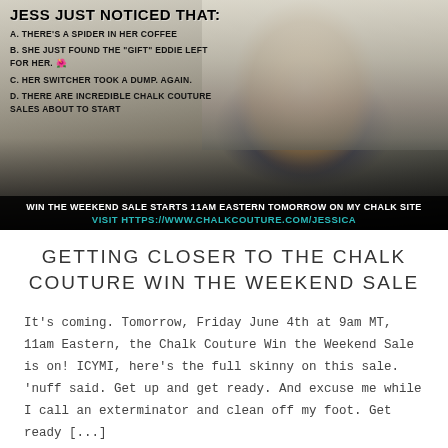[Figure (screenshot): Video thumbnail showing a surprised woman in a kitchen with overlaid text: 'JESS JUST NOTICED THAT:' with four options (A-D), and bottom banner text about Chalk Couture Win the Weekend Sale]
GETTING CLOSER TO THE CHALK COUTURE WIN THE WEEKEND SALE
It's coming. Tomorrow, Friday June 4th at 9am MT, 11am Eastern, the Chalk Couture Win the Weekend Sale is on! ICYMI, here's the full skinny on this sale. 'nuff said. Get up and get ready. And excuse me while I call an exterminator and clean off my foot. Get ready [...]